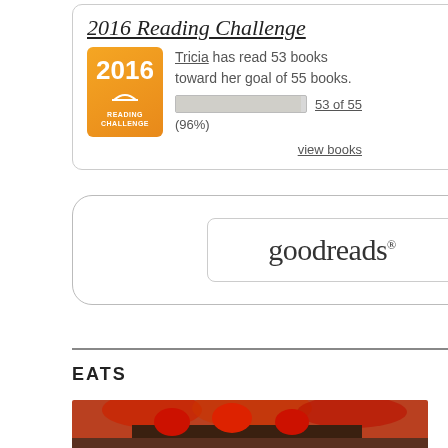[Figure (screenshot): 2016 Reading Challenge widget showing Tricia has read 53 books toward her goal of 55 books, with a progress bar showing 96%, a 2016 Reading Challenge badge in orange, and a 'view books' link]
[Figure (logo): Goodreads logo inside a rounded rectangle border, nested inside a larger rounded rectangle border]
EATS
[Figure (photo): Photo of a chocolate dessert topped with strawberries on what appears to be an orange/red plate]